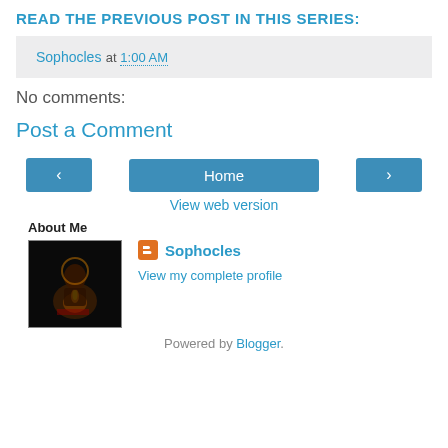READ THE PREVIOUS POST IN THIS SERIES:
Sophocles at 1:00 AM
No comments:
Post a Comment
< Home > View web version
About Me
[Figure (photo): Dark photo of a figure with candle light, likely a religious icon]
Sophocles
View my complete profile
Powered by Blogger.